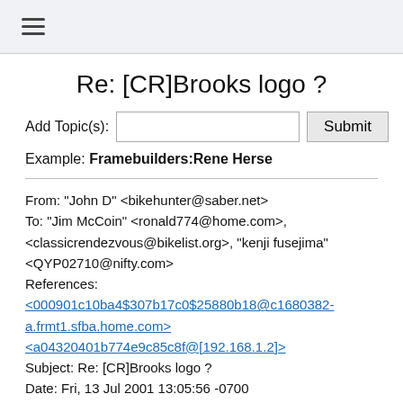☰ (navigation menu icon)
Re: [CR]Brooks logo ?
Add Topic(s): [input field] Submit
Example: Framebuilders:Rene Herse
From: "John D" <bikehunter@saber.net>
To: "Jim McCoin" <ronald774@home.com>, <classicrendezvous@bikelist.org>, "kenji fusejima" <QYP02710@nifty.com>
References:
<000901c10ba4$307b17c0$25880b18@c1680382-a.frmt1.sfba.home.com>
<a04320401b774e9c85c8f@[192.168.1.2]>
Subject: Re: [CR]Brooks logo ?
Date: Fri, 13 Jul 2001 13:05:56 -0700